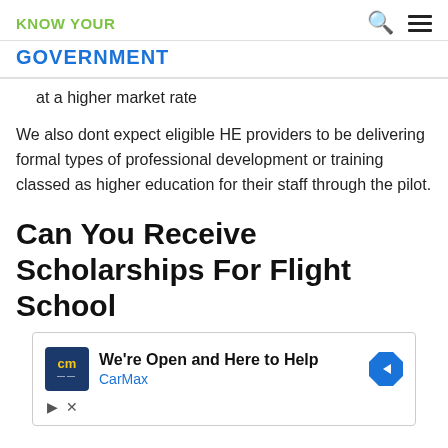KNOW YOUR GOVERNMENT
at a higher market rate
We also dont expect eligible HE providers to be delivering formal types of professional development or training classed as higher education for their staff through the pilot.
Can You Receive Scholarships For Flight School
[Figure (other): Advertisement banner for CarMax with logo, text 'We're Open and Here to Help', CarMax brand name, and a blue diamond arrow icon. Includes play and close ad controls.]